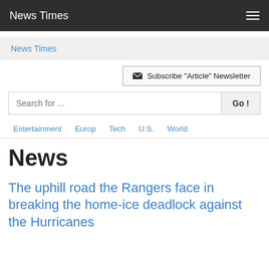News Times
News Times
Subscribe "Article" Newsletter
Search for ...
Entertainment  Europ  Tech  U.S.  World
News
The uphill road the Rangers face in breaking the home-ice deadlock against the Hurricanes